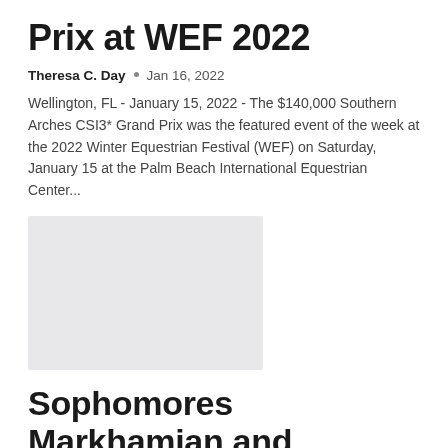Prix at WEF 2022
Theresa C. Day  •  Jan 16, 2022
Wellington, FL - January 15, 2022 - The $140,000 Southern Arches CSI3* Grand Prix was the featured event of the week at the 2022 Winter Equestrian Festival (WEF) on Saturday, January 15 at the Palm Beach International Equestrian Center...
[Figure (photo): Light gray placeholder image rectangle]
Sophomores Markhamian and Outfoxed futures brighten after Tampa Stakes scores – Reuters